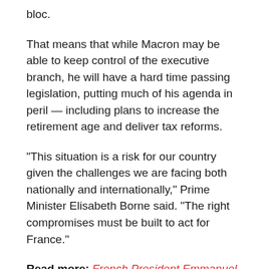bloc.
That means that while Macron may be able to keep control of the executive branch, he will have a hard time passing legislation, putting much of his agenda in peril — including plans to increase the retirement age and deliver tax reforms.
“This situation is a risk for our country given the challenges we are facing both nationally and internationally,” Prime Minister Elisabeth Borne said. “The right compromises must be built to act for France.”
Read more: French President Emmanuel Macron Wins Re-Election, Surviving a Far-Right Challenge From Marine Le Pen